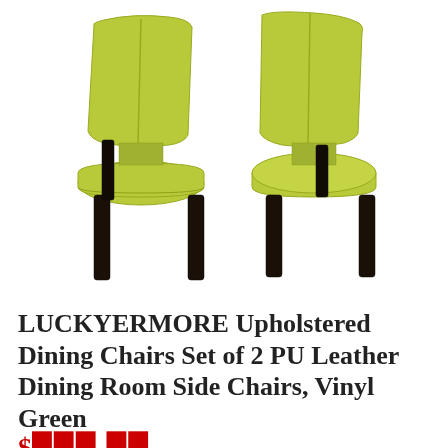[Figure (photo): Two upholstered dining chairs with yellow-green/lime fabric seats and backs, and dark espresso/black wooden legs, shown from a rear-angled perspective on a white background.]
LUCKYERMORE Upholstered Dining Chairs Set of 2 PU Leather Dining Room Side Chairs, Vinyl Green
$###.##